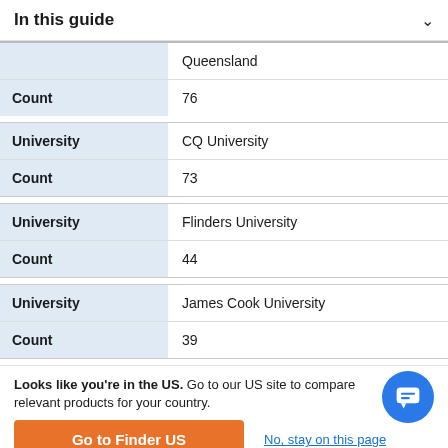In this guide
|  | Queensland |
| Count | 76 |
| University | CQ University |
| Count | 73 |
| University | Flinders University |
| Count | 44 |
| University | James Cook University |
| Count | 39 |
Looks like you're in the US. Go to our US site to compare relevant products for your country.
Go to Finder US
No, stay on this page